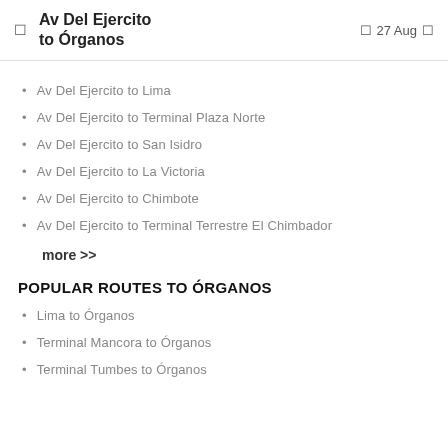Av Del Ejercito to Órganos  27 Aug
Av Del Ejercito to Lima
Av Del Ejercito to Terminal Plaza Norte
Av Del Ejercito to San Isidro
Av Del Ejercito to La Victoria
Av Del Ejercito to Chimbote
Av Del Ejercito to Terminal Terrestre El Chimbador
more >>
POPULAR ROUTES TO ÓRGANOS
Lima to Órganos
Terminal Mancora to Órganos
Terminal Tumbes to Órganos